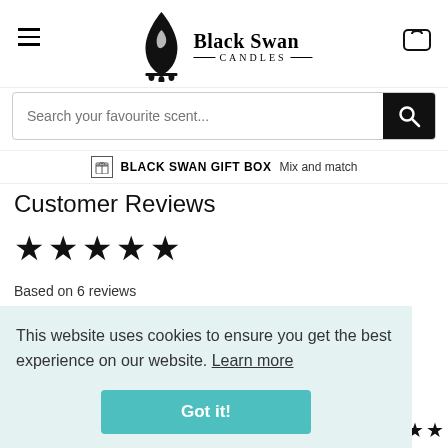[Figure (logo): Black Swan Candles logo with flame and swan graphic, brand name in serif font]
Search your favourite scent...
BLACK SWAN GIFT BOX  Mix and match
Customer Reviews
★★★★★
Based on 6 reviews
This website uses cookies to ensure you get the best experience on our website. Learn more
Got it!